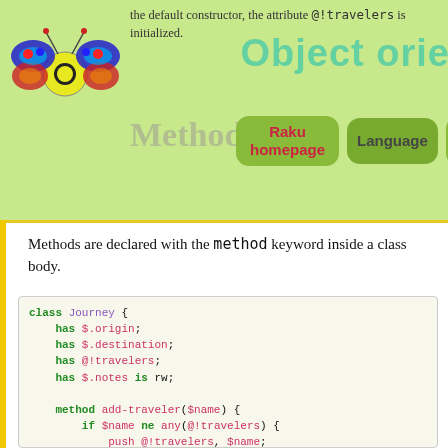the default constructor, the attribute @!travelers is initialized.
Methods
[Figure (logo): Raku butterfly/bee logo in colorful style]
Raku homepage  Language  Search Site
Methods are declared with the method keyword inside a class body.
class Journey {
    has $.origin;
    has $.destination;
    has @!travelers;
    has $.notes is rw;

    method add-traveler($name) {
        if $name ne any(@!travelers) {
            push @!travelers, $name;
        }
        else {
            warn "$name is already going on the journey!";
        }
    }

    method describe() {
        "From $!origin to $!destination"
    }
}